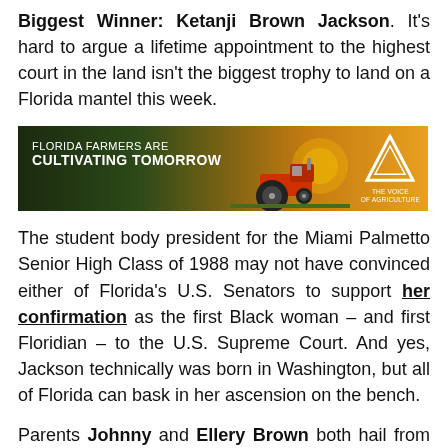Biggest Winner: Ketanji Brown Jackson. It's hard to argue a lifetime appointment to the highest court in the land isn't the biggest trophy to land on a Florida mantel this week.
[Figure (photo): Advertisement banner: Florida Farmers Are Cultivating Tomorrow — The Voice of Agriculture. Shows a tractor in a field at sunset.]
The student body president for the Miami Palmetto Senior High Class of 1988 may not have convinced either of Florida's U.S. Senators to support her confirmation as the first Black woman – and first Floridian – to the U.S. Supreme Court. And yes, Jackson technically was born in Washington, but all of Florida can bask in her ascension on the bench.
Parents Johnny and Ellery Brown both hail from South Florida, and raised their daughter